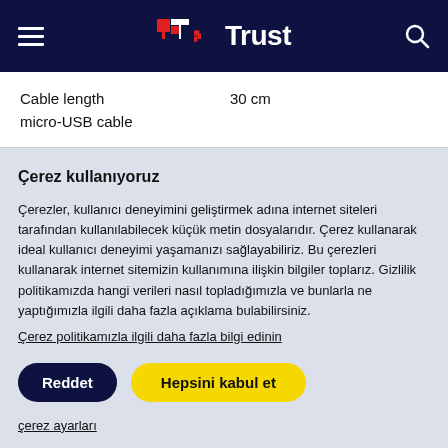Trust (logo header navigation)
| Cable length
micro-USB cable | 30 cm |
Çerez kullanıyoruz
Çerezler, kullanıcı deneyimini geliştirmek adına internet siteleri tarafından kullanılabilecek küçük metin dosyalarıdır. Çerez kullanarak ideal kullanıcı deneyimi yaşamanızı sağlayabiliriz. Bu çerezleri kullanarak internet sitemizin kullanımına ilişkin bilgiler toplarız. Gizlilik politikamızda hangi verileri nasıl topladığımızla ve bunlarla ne yaptığımızla ilgili daha fazla açıklama bulabilirsiniz. Çerez politikamızla ilgili daha fazla bilgi edinin
Reddet | Hepsini kabul et
çerez ayarları